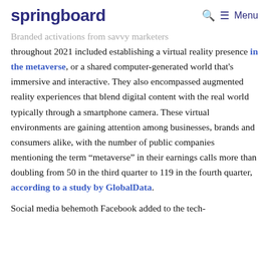springboard   🔍 ≡ Menu
Branded activations from savvy marketers throughout 2021 included establishing a virtual reality presence in the metaverse, or a shared computer-generated world that's immersive and interactive. They also encompassed augmented reality experiences that blend digital content with the real world typically through a smartphone camera. These virtual environments are gaining attention among businesses, brands and consumers alike, with the number of public companies mentioning the term “metaverse” in their earnings calls more than doubling from 50 in the third quarter to 119 in the fourth quarter, according to a study by GlobalData.
Social media behemoth Facebook added to the tech-